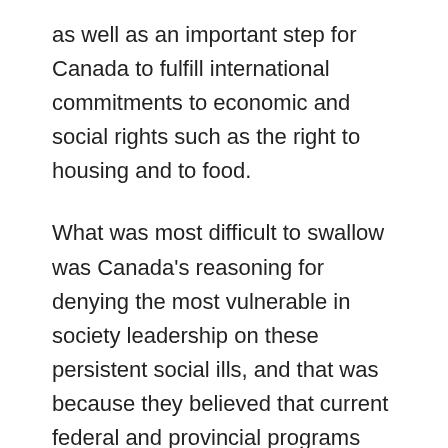as well as an important step for Canada to fulfill international commitments to economic and social rights such as the right to housing and to food.
What was most difficult to swallow was Canada's reasoning for denying the most vulnerable in society leadership on these persistent social ills, and that was because they believed that current federal and provincial programs and policies were already in place to adequately address these issues. A pretty unbelievable statement considering what we know:  between 3-4 million people are living in poverty, 200,000 people are visibly homeless, and one million food...